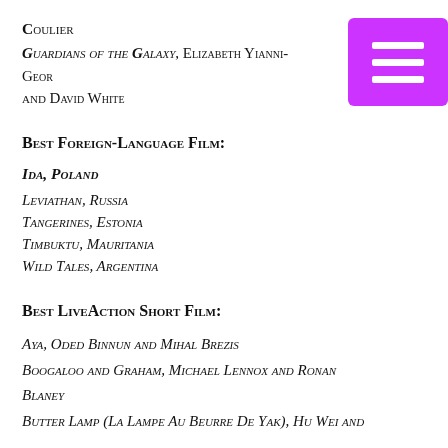COULIER
GUARDIANS OF THE GALAXY, ELIZABETH YIANNI-GEORGIOU AND DAVID WHITE
Best Foreign-Language Film:
IDA, POLAND
LEVIATHAN, RUSSIA
TANGERINES, ESTONIA
TIMBUKTU, MAURITANIA
WILD TALES, ARGENTINA
Best LiveAction Short Film:
AYA, ODED BINNUN AND MIHAL BREZIS
BOOGALOO AND GRAHAM, MICHAEL LENNOX AND RONAN BLANEY
BUTTER LAMP (LA LAMPE AU BEURRE DE YAK), HU WEI AND